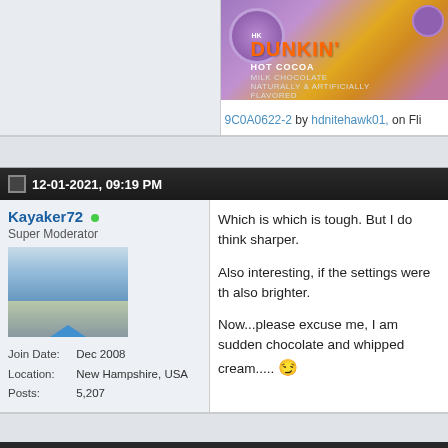[Figure (photo): Dunkin Hot Cocoa K-cup pods in purple packaging with orange DUNKIN text visible]
9C0A0622-2 by hdnitehawk01, on Fli
12-01-2021, 09:19 PM
Kayaker72 (Super Moderator) — Join Date: Dec 2008, Location: New Hampshire, USA, Posts: 5,207
Which is which is tough. But I do think sharper.

Also interesting, if the settings were th also brighter.

Now...please excuse me, I am sudden chocolate and whipped cream.....
12-02-2021, 12:41 AM
HDNitehawk — Originally Posted by Kayake